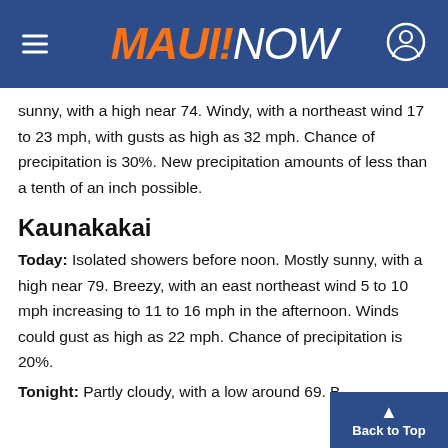MAUI NOW
sunny, with a high near 74. Windy, with a northeast wind 17 to 23 mph, with gusts as high as 32 mph. Chance of precipitation is 30%. New precipitation amounts of less than a tenth of an inch possible.
Kaunakakai
Today: Isolated showers before noon. Mostly sunny, with a high near 79. Breezy, with an east northeast wind 5 to 10 mph increasing to 11 to 16 mph in the afternoon. Winds could gust as high as 22 mph. Chance of precipitation is 20%.
Tonight: Partly cloudy, with a low around 69. B...